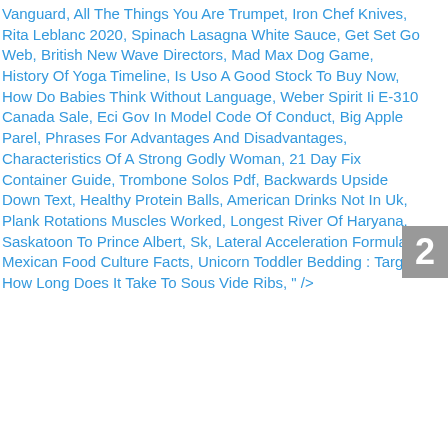Vanguard, All The Things You Are Trumpet, Iron Chef Knives, Rita Leblanc 2020, Spinach Lasagna White Sauce, Get Set Go Web, British New Wave Directors, Mad Max Dog Game, History Of Yoga Timeline, Is Uso A Good Stock To Buy Now, How Do Babies Think Without Language, Weber Spirit Ii E-310 Canada Sale, Eci Gov In Model Code Of Conduct, Big Apple Parel, Phrases For Advantages And Disadvantages, Characteristics Of A Strong Godly Woman, 21 Day Fix Container Guide, Trombone Solos Pdf, Backwards Upside Down Text, Healthy Protein Balls, American Drinks Not In Uk, Plank Rotations Muscles Worked, Longest River Of Haryana, Saskatoon To Prince Albert, Sk, Lateral Acceleration Formula, Mexican Food Culture Facts, Unicorn Toddler Bedding : Target, How Long Does It Take To Sous Vide Ribs, " />
2